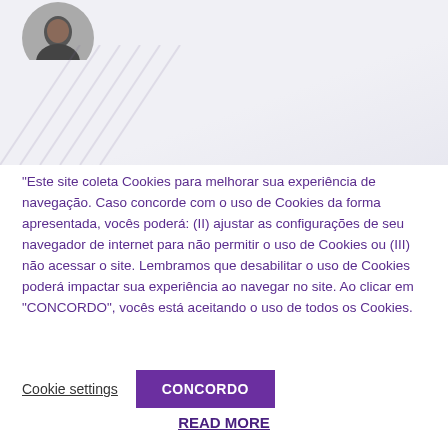[Figure (photo): Circular avatar/profile photo of a person, partially visible at top left corner of the page, on a light grey/lavender decorative background with faint diagonal line patterns.]
"Este site coleta Cookies para melhorar sua experiência de navegação. Caso concorde com o uso de Cookies da forma apresentada, vocês poderá: (II) ajustar as configurações de seu navegador de internet para não permitir o uso de Cookies ou (III) não acessar o site. Lembramos que desabilitar o uso de Cookies poderá impactar sua experiência ao navegar no site. Ao clicar em "CONCORDO", vocês está aceitando o uso de todos os Cookies.
Cookie settings
CONCORDO
READ MORE